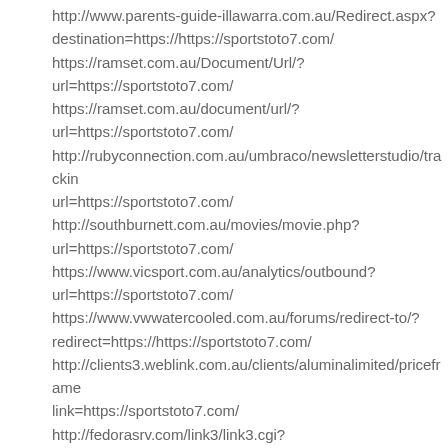http://www.parents-guide-illawarra.com.au/Redirect.aspx?destination=https://https://sportstoto7.com/
https://ramset.com.au/Document/Url/?url=https://sportstoto7.com/
https://ramset.com.au/document/url/?url=https://sportstoto7.com/
http://rubyconnection.com.au/umbraco/newsletterstudio/trackin url=https://sportstoto7.com/
http://southburnett.com.au/movies/movie.php?url=https://sportstoto7.com/
https://www.vicsport.com.au/analytics/outbound?url=https://sportstoto7.com/
https://www.vwwatercooled.com.au/forums/redirect-to/?redirect=https://https://sportstoto7.com/
http://clients3.weblink.com.au/clients/aluminalimited/priceframe link=https://sportstoto7.com/
http://fedorasrv.com/link3/link3.cgi?mode=cnt&hp=https://sportstoto7.com/
http://www.rss.geodles.com/fwd.php?url=https://sportstoto7.com/